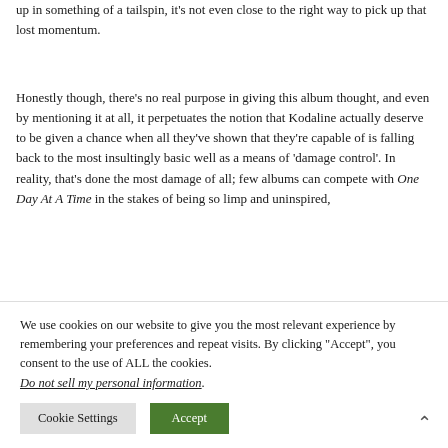up in something of a tailspin, it's not even close to the right way to pick up that lost momentum.
Honestly though, there's no real purpose in giving this album thought, and even by mentioning it at all, it perpetuates the notion that Kodaline actually deserve to be given a chance when all they've shown that they're capable of is falling back to the most insultingly basic well as a means of 'damage control'. In reality, that's done the most damage of all; few albums can compete with One Day At A Time in the stakes of being so limp and uninspired,
We use cookies on our website to give you the most relevant experience by remembering your preferences and repeat visits. By clicking "Accept", you consent to the use of ALL the cookies.
Do not sell my personal information.